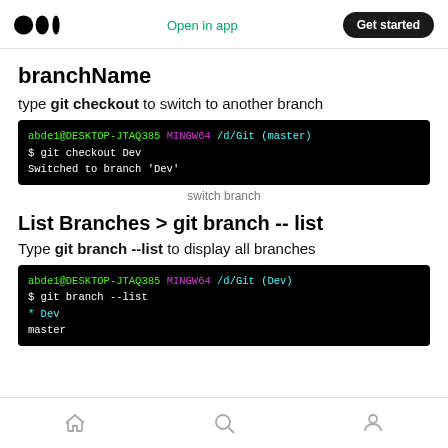Medium logo | Open in app | Get started
branchName
type git checkout to switch to another branch
[Figure (screenshot): Terminal screenshot showing: abde1@DESKTOP-JTAQ385 MINGW64 /d/Git (master)
$ git checkout Dev
Switched to branch 'Dev']
switch branch
List Branches > git branch -- list
Type git branch --list to display all branches
[Figure (screenshot): Terminal screenshot showing: abde1@DESKTOP-JTAQ385 MINGW64 /d/Git (Dev)
$ git branch --list
* Dev
  master]
Home | Search | Profile